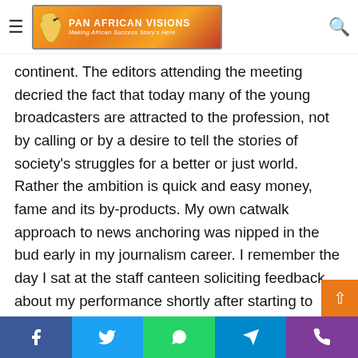[Figure (logo): Pan African Visions logo with Africa continent silhouette on orange/red gradient background]
continent. The editors attending the meeting decried the fact that today many of the young broadcasters are attracted to the profession, not by calling or by a desire to tell the stories of society's struggles for a better or just world. Rather the ambition is quick and easy money, fame and its by-products. My own catwalk approach to news anchoring was nipped in the bud early in my journalism career. I remember the day I sat at the staff canteen soliciting feedback about my performance shortly after starting to read the TV news on the Kenyan Broadcasting Corporation. “How did I look last night?” I asked a colleague. Even before my friend could answer, an elderly editor who was quietly listening to our conversation as he navigated his way round his plate of rice and matumbo (trip jumped in. “Young man, it’s not about how you look – it’s
Facebook Twitter WhatsApp Telegram Phone